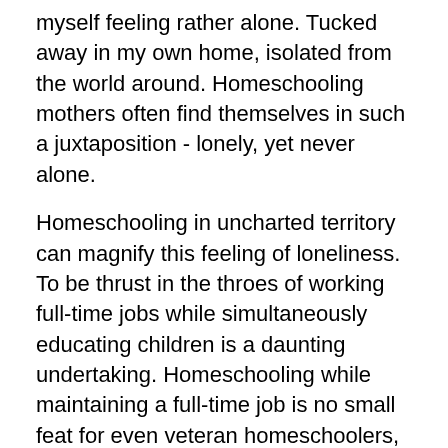myself feeling rather alone. Tucked away in my own home, isolated from the world around. Homeschooling mothers often find themselves in such a juxtaposition - lonely, yet never alone.
Homeschooling in uncharted territory can magnify this feeling of loneliness. To be thrust in the throes of working full-time jobs while simultaneously educating children is a daunting undertaking. Homeschooling while maintaining a full-time job is no small feat for even veteran homeschoolers, let alone parents who had their schedules disrupted practically overnight.
In such times, it is nice to have community support. There is power in being part of something bigger than yourself. It feels good to know that others are going through a similar experience and that your